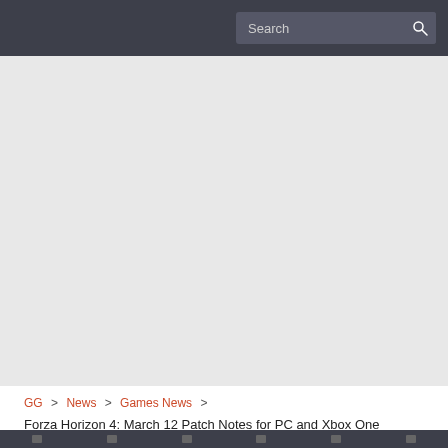Search
[Figure (other): Large advertisement or banner placeholder area with light gray background]
GG > News > Games News >
Forza Horizon 4: March 12 Patch Notes for PC and Xbox One